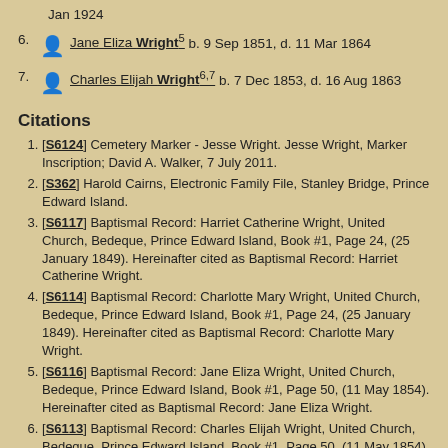Jan 1924
6. [female icon] Jane Eliza Wright^5 b. 9 Sep 1851, d. 11 Mar 1864
7. [male icon] Charles Elijah Wright^6,7 b. 7 Dec 1853, d. 16 Aug 1863
Citations
[S6124] Cemetery Marker - Jesse Wright. Jesse Wright, Marker Inscription; David A. Walker, 7 July 2011.
[S362] Harold Cairns, Electronic Family File, Stanley Bridge, Prince Edward Island.
[S6117] Baptismal Record: Harriet Catherine Wright, United Church, Bedeque, Prince Edward Island, Book #1, Page 24, (25 January 1849). Hereinafter cited as Baptismal Record: Harriet Catherine Wright.
[S6114] Baptismal Record: Charlotte Mary Wright, United Church, Bedeque, Prince Edward Island, Book #1, Page 24, (25 January 1849). Hereinafter cited as Baptismal Record: Charlotte Mary Wright.
[S6116] Baptismal Record: Jane Eliza Wright, United Church, Bedeque, Prince Edward Island, Book #1, Page 50, (11 May 1854). Hereinafter cited as Baptismal Record: Jane Eliza Wright.
[S6113] Baptismal Record: Charles Elijah Wright, United Church, Bedeque, Prince Edward Island, Book #1, Page 50, (11 May 1854). Hereinafter cited as Baptismal Record: Charles Elijah